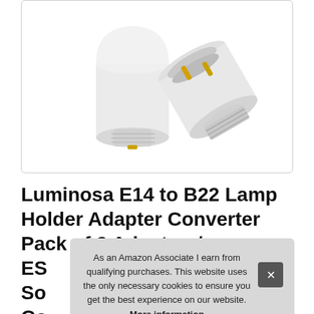[Figure (photo): Two white E14 to B22 lamp holder adapter converters on a white background. One adapter is upright showing the base, the other is tilted showing the gold pin bayonet B22 socket interior.]
Luminosa E14 to B22 Lamp Holder Adapter Converter Pack of 2 Adapters/ ES  So  Co  Certified
As an Amazon Associate I earn from qualifying purchases. This website uses the only necessary cookies to ensure you get the best experience on our website. More information